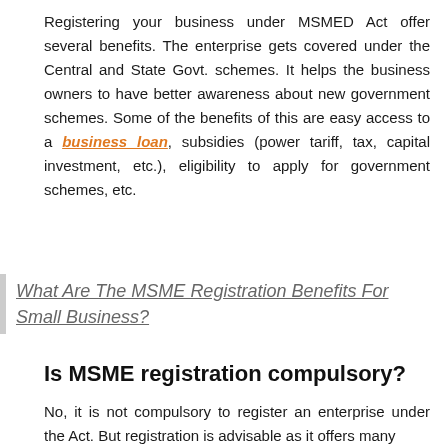Registering your business under MSMED Act offer several benefits. The enterprise gets covered under the Central and State Govt. schemes. It helps the business owners to have better awareness about new government schemes. Some of the benefits of this are easy access to a business loan, subsidies (power tariff, tax, capital investment, etc.), eligibility to apply for government schemes, etc.
What Are The MSME Registration Benefits For Small Business?
Is MSME registration compulsory?
No, it is not compulsory to register an enterprise under the Act. But registration is advisable as it offers many